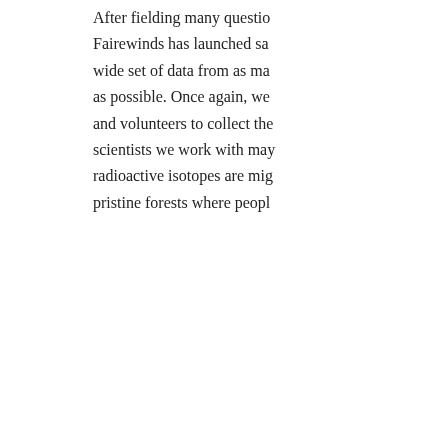After fielding many questions, Fairewinds has launched sampling to collect a wide set of data from as many locations as possible. Once again, we are asking supporters and volunteers to collect the data our scientists we work with may need to determine where radioactive isotopes are migrating throughout previously pristine forests where people live, work and play.
Frank says: December 22, 2018 at 11:3...
The stock market is doomed. It's going to crash, get out while you can. Geoengineering will be recognized just like every other deception of the last century.
Leave a Reply to Stua
Your email address
Follow